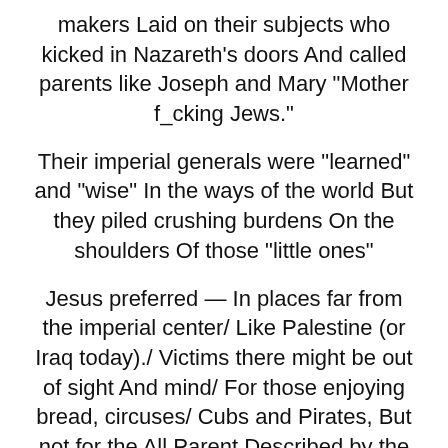makers Laid on their subjects who kicked in Nazareth’s doors And called parents like Joseph and Mary “Mother f_cking Jews.”
Their imperial generals were “learned” and “wise” In the ways of the world But they piled crushing burdens On the shoulders Of those “little ones”
Jesus preferred — In places far from the imperial center/ Like Palestine (or Iraq today)./ Victims there might be out of sight And mind/ For those enjoying bread, circuses/ Cubs and Pirates, But not for the All Parent Described by the Psalmist today
As gracious, merciful, slow to anger, hugely kind, benevolent to all, compassionate, faithful, holy, and lifting up (rather than